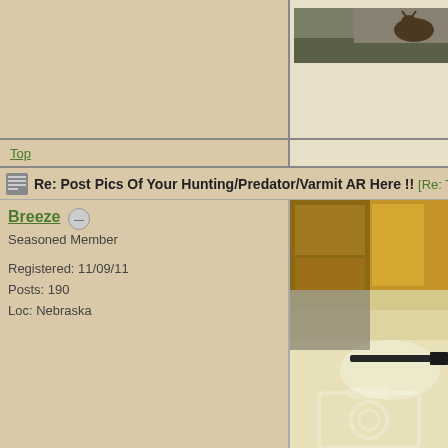[Figure (photo): Partial view of previous post — small hunting photo (deer/animal in field)]
Top
Re: Post Pics Of Your Hunting/Predator/Varmit AR Here !!  [Re: Trailtr...
Breeze
Seasoned Member

Registered: 11/09/11
Posts: 190
Loc: Nebraska
[Figure (photo): Indoor photo showing wooden kitchen cabinet and a rifle barrel on a floor, with a camera icon watermark overlay]